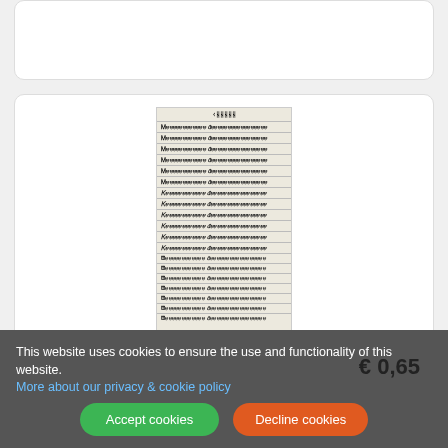[Figure (photo): Product image showing a sheet of stickers with repeated text 'Hartelijk gefeliciteerd' in decorative font on transparent silver background, 18 stickers arranged in rows]
DD: Hartelijk gefeliciteerd; transparant zilver
stickervel 10 x 23 cm 18 stuks
€ 0,65
This website uses cookies to ensure the use and functionality of this website. More about our privacy & cookie policy
Accept cookies
Decline cookies